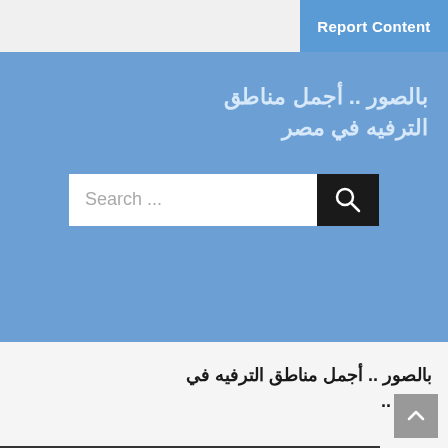Report Content
بالصور .. أجمل مناطق الترفيه في مصر
[Figure (other): Search bar with text input field and search button icon]
بالصور .. أجمل مناطق الترفيه في مصر ..